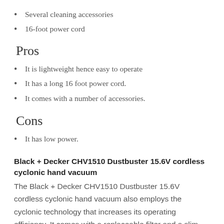Several cleaning accessories
16-foot power cord
Pros
It is lightweight hence easy to operate
It has a long 16 foot power cord.
It comes with a number of accessories.
Cons
It has low power.
Black + Decker CHV1510 Dustbuster 15.6V cordless cyclonic hand vacuum
The Black + Decker CHV1510 Dustbuster 15.6V cordless cyclonic hand vacuum also employs the cyclonic technology that increases its operating efficiency. It comes with a replaceable filter and a slim nozzle that can clean dirt and dust in some of the hard to reach areas.